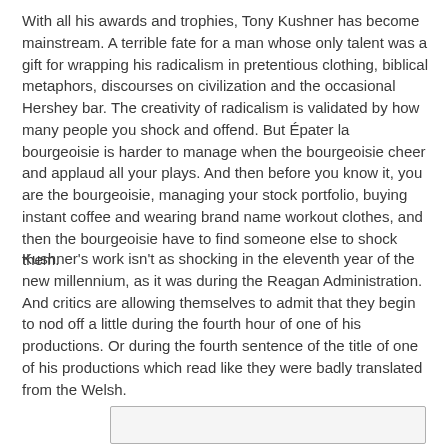With all his awards and trophies, Tony Kushner has become mainstream. A terrible fate for a man whose only talent was a gift for wrapping his radicalism in pretentious clothing, biblical metaphors, discourses on civilization and the occasional Hershey bar. The creativity of radicalism is validated by how many people you shock and offend. But Épater la bourgeoisie is harder to manage when the bourgeoisie cheer and applaud all your plays. And then before you know it, you are the bourgeoisie, managing your stock portfolio, buying instant coffee and wearing brand name workout clothes, and then the bourgeoisie have to find someone else to shock them.
Kushner's work isn't as shocking in the eleventh year of the new millennium, as it was during the Reagan Administration. And critics are allowing themselves to admit that they begin to nod off a little during the fourth hour of one of his productions. Or during the fourth sentence of the title of one of his productions which read like they were badly translated from the Welsh.